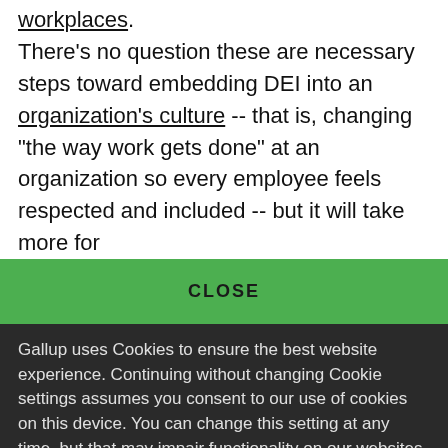workplaces. There's no question these are necessary steps toward embedding DEI into an organization's culture -- that is, changing "the way work gets done" at an organization so every employee feels respected and included -- but it will take more for
CLOSE
Gallup uses Cookies to ensure the best website experience. Continuing without changing Cookie settings assumes you consent to our use of cookies on this device. You can change this setting at any time, but that may impair functionality on our websites.
Privacy Statement   Site Terms of Use and Sale
Product Terms of Use   Adjust your cookie settings.